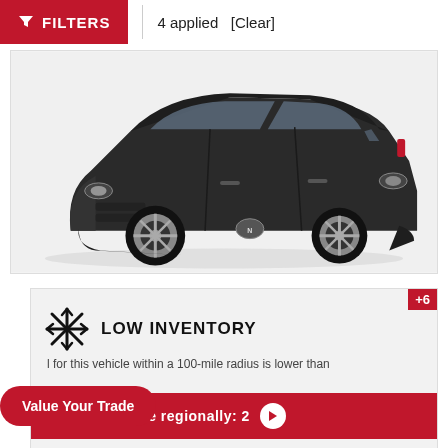FILTERS  |  4 applied  [Clear]
[Figure (photo): Dark gray Nissan Rogue SUV on white background, front three-quarter view]
LOW INVENTORY
l for this vehicle within a 100-mile radius is lower than
Available regionally: 2
Value Your Trade
POWERED BY  TRADEPENDING
+6